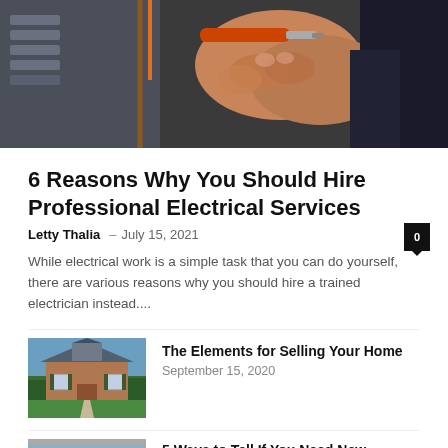[Figure (photo): Close-up photo of hands using a screwdriver on an electrical panel with wiring]
6 Reasons Why You Should Hire Professional Electrical Services
Letty Thalia – July 15, 2021  0
While electrical work is a simple task that you can do yourself, there are various reasons why you should hire a trained electrician instead....
[Figure (photo): Photo of a large two-story brick house with green lawn]
The Elements for Selling Your Home
September 15, 2020
[Figure (photo): Photo of a house with windows, partially visible]
5 Ways to Tell If You Need New Windows This